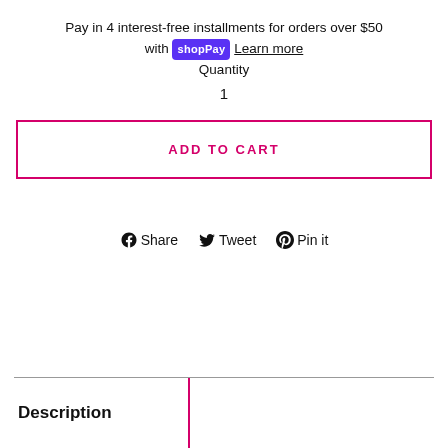Pay in 4 interest-free installments for orders over $50 with shopPay Learn more
Quantity
1
ADD TO CART
Share  Tweet  Pin it
Description